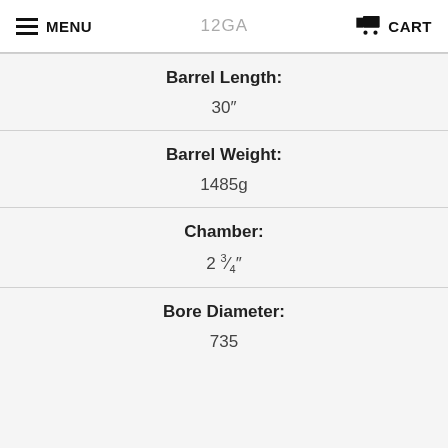MENU | 12GA | CART
Barrel Length:
30"
Barrel Weight:
1485g
Chamber:
2 3/4"
Bore Diameter:
735